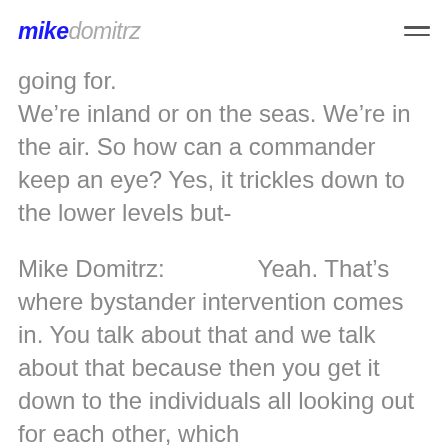mikedomitrz
going for. We're inland or on the seas. We're in the air. So how can a commander keep an eye? Yes, it trickles down to the lower levels but-
Mike Domitrz:          Yeah. That's where bystander intervention comes in. You talk about that and we talk about that because then you get it down to the individuals all looking out for each other, which